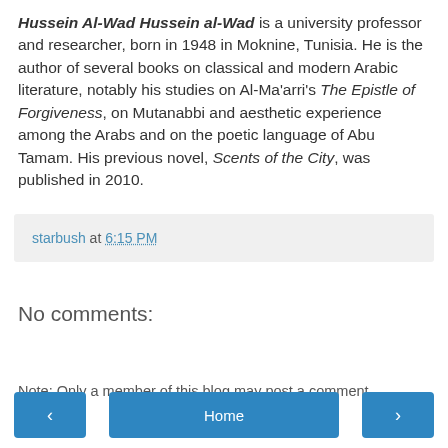Hussein Al-Wad Hussein al-Wad is a university professor and researcher, born in 1948 in Moknine, Tunisia. He is the author of several books on classical and modern Arabic literature, notably his studies on Al-Ma'arri's The Epistle of Forgiveness, on Mutanabbi and aesthetic experience among the Arabs and on the poetic language of Abu Tamam. His previous novel, Scents of the City, was published in 2010.
starbush at 6:15 PM
No comments:
Post a Comment
Note: Only a member of this blog may post a comment.
< | Home | >